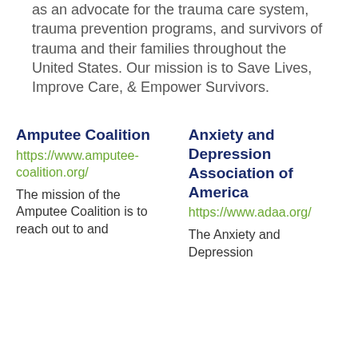the ATS has served as an advocate for the trauma care system, trauma prevention programs, and survivors of trauma and their families throughout the United States. Our mission is to Save Lives, Improve Care, & Empower Survivors.
Amputee Coalition
https://www.amputee-coalition.org/
The mission of the Amputee Coalition is to reach out to and
Anxiety and Depression Association of America
https://www.adaa.org/
The Anxiety and Depression